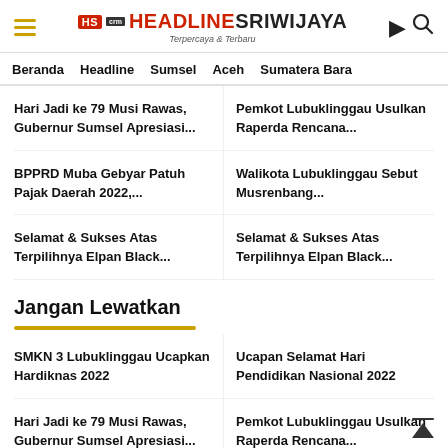HEADLINE SRIWIJAYA — Terpercaya & Terbaru
Beranda | Headline | Sumsel | Aceh | Sumatera Bara
Hari Jadi ke 79 Musi Rawas, Gubernur Sumsel Apresiasi...
Pemkot Lubuklinggau Usulkan Raperda Rencana...
BPPRD Muba Gebyar Patuh Pajak Daerah 2022,...
Walikota Lubuklinggau Sebut Musrenbang...
Selamat & Sukses Atas Terpilihnya Elpan Black...
Selamat & Sukses Atas Terpilihnya Elpan Black...
Jangan Lewatkan
SMKN 3 Lubuklinggau Ucapkan Hardiknas 2022
Ucapan Selamat Hari Pendidikan Nasional 2022
Hari Jadi ke 79 Musi Rawas, Gubernur Sumsel Apresiasi...
Pemkot Lubuklinggau Usulkan Raperda Rencana...